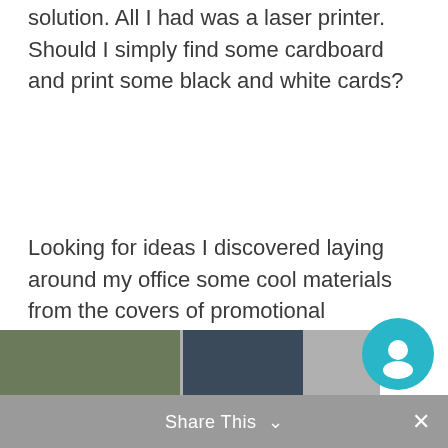business cards on time. I had to find a solution. All I had was a laser printer. Should I simply find some cardboard and print some black and white cards?
Looking for ideas I discovered laying around my office some cool materials from the covers of promotional notebooks and folders, plus some printable sheets of labels that I could use.
I combined these funky materials with a neat print of my basic data and my first home made batch of  business cards came to
Share This ∨  ×